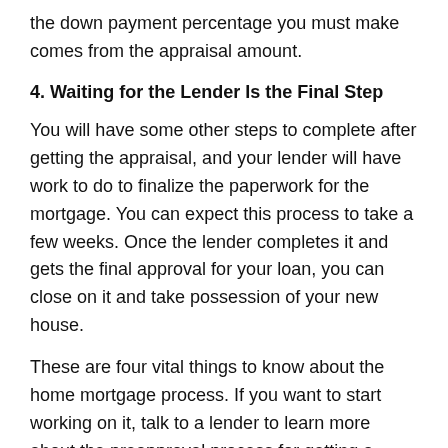the down payment percentage you must make comes from the appraisal amount.
4. Waiting for the Lender Is the Final Step
You will have some other steps to complete after getting the appraisal, and your lender will have work to do to finalize the paperwork for the mortgage. You can expect this process to take a few weeks. Once the lender completes it and gets the final approval for your loan, you can close on it and take possession of your new house.
These are four vital things to know about the home mortgage process. If you want to start working on it, talk to a lender to learn more about the preapproval process for getting a home mortgage.